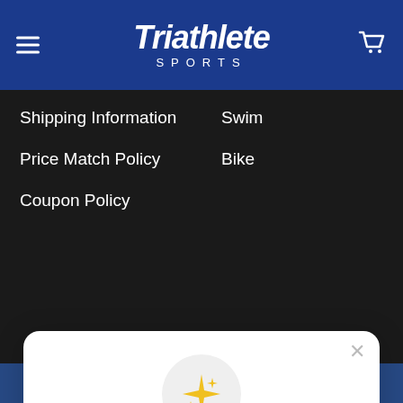Triathlete SPORTS
Shipping Information
Swim
Price Match Policy
Bike
Coupon Policy
Unlock exclusive rewards and perks
Sign up or Log in
Sign up
Already have an account? Sign in